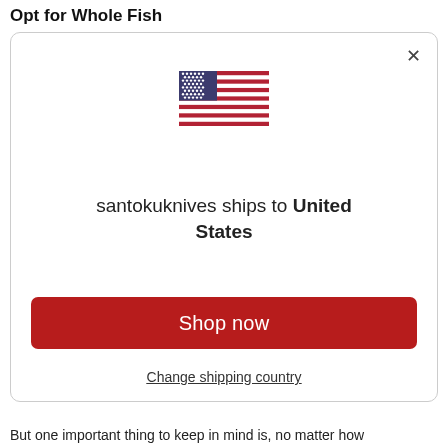Opt for Whole Fish
[Figure (screenshot): Modal dialog showing US flag and shipping information for santokuknives to United States, with Shop now button and Change shipping country link]
But one important thing to keep in mind is, no matter how